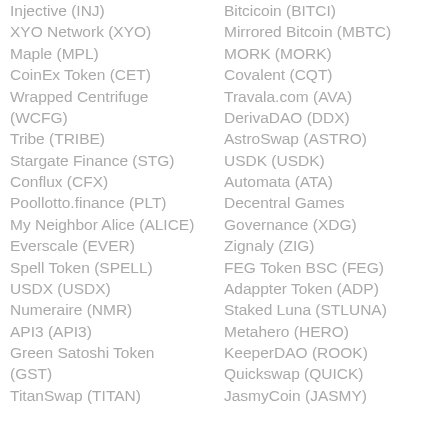Injective (INJ)
XYO Network (XYO)
Maple (MPL)
CoinEx Token (CET)
Wrapped Centrifuge (WCFG)
Tribe (TRIBE)
Stargate Finance (STG)
Conflux (CFX)
Poollotto.finance (PLT)
My Neighbor Alice (ALICE)
Everscale (EVER)
Spell Token (SPELL)
USDX (USDX)
Numeraire (NMR)
API3 (API3)
Green Satoshi Token (GST)
TitanSwap (TITAN)
Bitcicoin (BITCI)
Mirrored Bitcoin (MBTC)
MORK (MORK)
Covalent (CQT)
Travala.com (AVA)
DerivaDAO (DDX)
AstroSwap (ASTRO)
USDK (USDK)
Automata (ATA)
Decentral Games Governance (XDG)
Zignaly (ZIG)
FEG Token BSC (FEG)
Adappter Token (ADP)
Staked Luna (STLUNA)
Metahero (HERO)
KeeperDAO (ROOK)
Quickswap (QUICK)
JasmyCoin (JASMY)